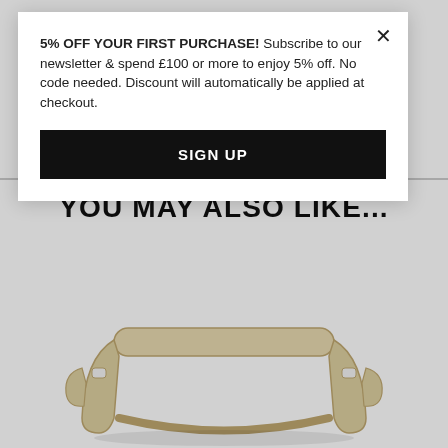5% OFF YOUR FIRST PURCHASE! Subscribe to our newsletter & spend £100 or more to enjoy 5% off. No code needed. Discount will automatically be applied at checkout.
SIGN UP
YOU MAY ALSO LIKE...
[Figure (photo): A modern bentwood/plywood side table or magazine rack with curved light-wood construction, viewed from a slight angle showing its open frame design.]